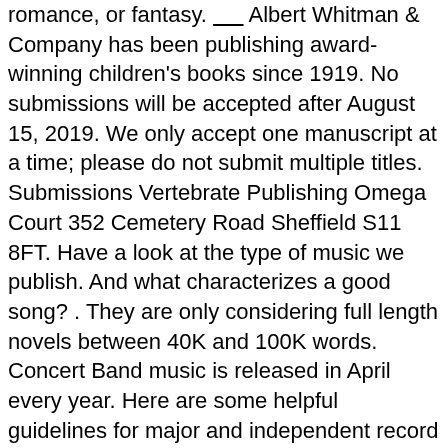romance, or fantasy. _____ Albert Whitman & Company has been publishing award-winning children's books since 1919. No submissions will be accepted after August 15, 2019. We only accept one manuscript at a time; please do not submit multiple titles. Submissions Vertebrate Publishing Omega Court 352 Cemetery Road Sheffield S11 8FT. Have a look at the type of music we publish. And what characterizes a good song? . They are only considering full length novels between 40K and 100K words. Concert Band music is released in April every year. Here are some helpful guidelines for major and independent record and music labels accepting demos. Music Publishers Association of the United States Education and Advocacy. submission, that should be noted in any written correspondence to Emstone Music Publishing. We ask you to buy one of our books before you submit so you get a feel for what we like and the sort of books we publish. Please keep in mind that while Polis Books does accept unsolicited submissions, due to the incredibly high volume of unsolicited material we receive, we will only respond to queries if we have interest in the submission. Please note to FRP to ensure